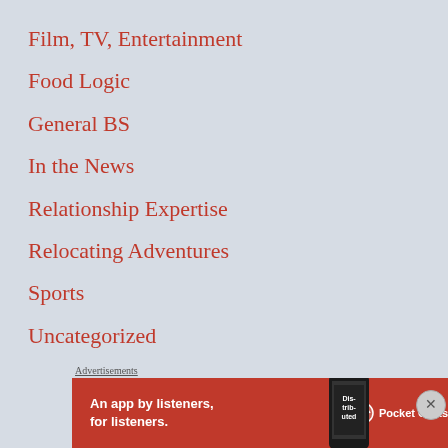Film, TV, Entertainment
Food Logic
General BS
In the News
Relationship Expertise
Relocating Adventures
Sports
Uncategorized
Wedding Planning Insanity
Advertisements
[Figure (other): Pocket Casts advertisement banner: red background with text 'An app by listeners, for listeners.' and Pocket Casts logo, with phone showing 'Distributed' text, and a close (X) button overlay]